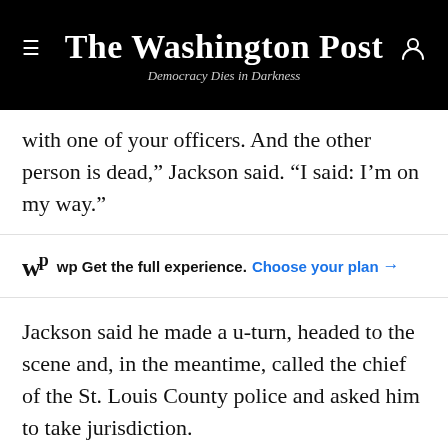The Washington Post
Democracy Dies in Darkness
with one of your officers. And the other person is dead,” Jackson said. “I said: I’m on my way.”
wp Get the full experience. Choose your plan →
Jackson said he made a u-turn, headed to the scene and, in the meantime, called the chief of the St. Louis County police and asked him to take jurisdiction.
“I get a call that says there’s an officer involved in a shooting and the other person is dead, do I want to investigate that, how’s that going to appear in the